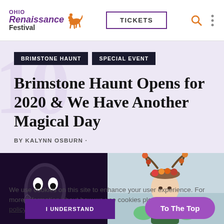Ohio Renaissance Festival — TICKETS navigation bar
BRIMSTONE HAUNT
SPECIAL EVENT
Brimstone Haunt Opens for 2020 & We Have Another Magical Day
BY KALYNN OSBURN ·
[Figure (photo): Two-panel image: left panel shows a horror character with a skeletal/demonic face; right panel shows a woman in fairy/flower costume with antlers.]
We use cookies on this site to enhance your user experience. For more information about how we use cookies please read our cookie policy.